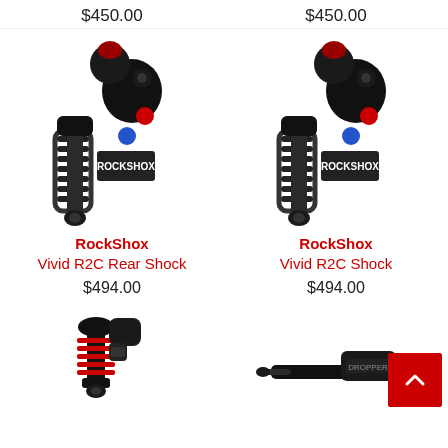$450.00
$450.00
[Figure (photo): RockShox Vivid R2C Rear Shock - black mountain bike rear shock with red and blue adjustment knobs and coil spring]
RockShox
Vivid R2C Rear Shock
$494.00
[Figure (photo): RockShox Vivid R2C Shock - black mountain bike rear shock with red and blue adjustment knobs and coil spring]
RockShox
Vivid R2C Shock
$494.00
[Figure (photo): Small black and red rear shock with coil spring - bottom left product]
[Figure (photo): Black handlebar or dropper post component - bottom right product]